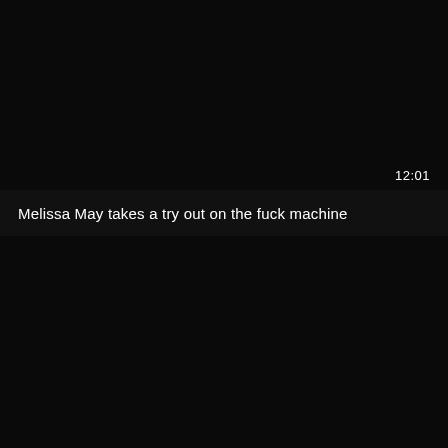[Figure (screenshot): Dark/black video thumbnail panel at top]
12:01
Melissa May takes a try out on the fuck machine
[Figure (screenshot): Dark/black video thumbnail panel at bottom]